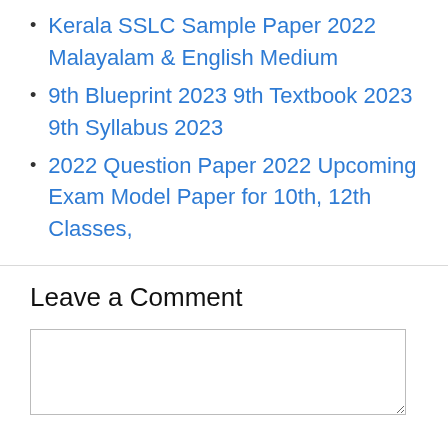Kerala SSLC Sample Paper 2022 Malayalam & English Medium
9th Blueprint 2023 9th Textbook 2023 9th Syllabus 2023
2022 Question Paper 2022 Upcoming Exam Model Paper for 10th, 12th Classes,
Leave a Comment